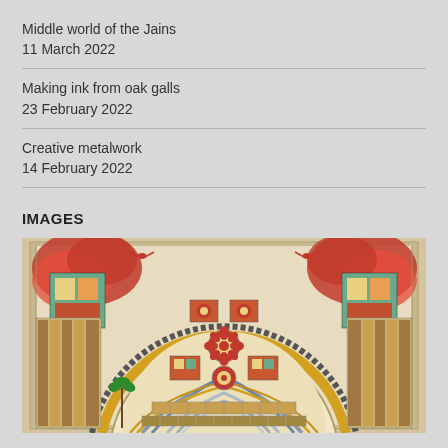Middle world of the Jains
11 March 2022
Making ink from oak galls
23 February 2022
Creative metalwork
14 February 2022
IMAGES
[Figure (photo): Photograph of a Jain mandala painting showing a colorful cosmological diagram with a large semicircle, intricate interlaced patterns, red decorative forms at the corners, and detailed architectural and floral motifs in red, gold, grey, and blue on a cream background.]